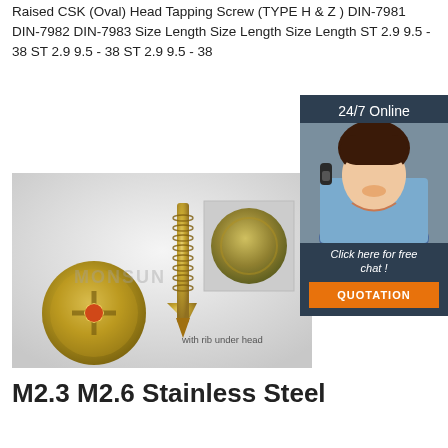Raised CSK (Oval) Head Tapping Screw (TYPE H & Z) DIN-7981 DIN-7982 DIN-7983 Size Length Size Length Size Length ST 2.9 9.5 - 38 ST 2.9 9.5 - 38 ST 2.9 9.5 - 38
[Figure (other): Orange 'Get Price' button]
[Figure (other): Dark blue chat widget with '24/7 Online' label, photo of female customer service agent with headset, 'Click here for free chat!' text, and orange QUOTATION button]
[Figure (photo): Photo of brass/gold colored raised countersunk head tapping screws on grey background. Shows screw head face-on (left) and screw standing upright (center). Small inset image of screw top view. Text 'MONSUN' watermark and label 'with rib under head'.]
M2.3 M2.6 Stainless Steel